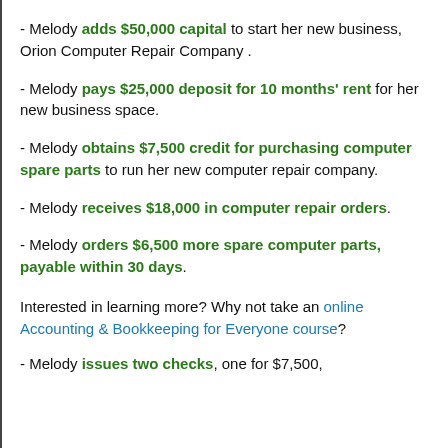- Melody adds $50,000 capital to start her new business, Orion Computer Repair Company .
- Melody pays $25,000 deposit for 10 months' rent for her new business space.
- Melody obtains $7,500 credit for purchasing computer spare parts to run her new computer repair company.
- Melody receives $18,000 in computer repair orders.
- Melody orders $6,500 more spare computer parts, payable within 30 days.
Interested in learning more? Why not take an online Accounting & Bookkeeping for Everyone course?
- Melody issues two checks, one for $7,500,